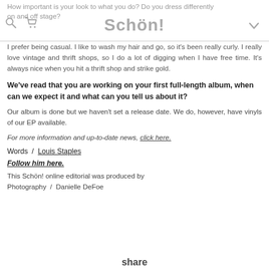How important is your look to what you do? Do you dress differently on and off stage?
I prefer being casual. I like to wash my hair and go, so it’s been really curly. I really love vintage and thrift shops, so I do a lot of digging when I have free time. It’s always nice when you hit a thrift shop and strike gold.
We’ve read that you are working on your first full-length album, when can we expect it and what can you tell us about it?
Our album is done but we haven’t set a release date. We do, however, have vinyls of our EP available.
For more information and up-to-date news, click here.
Words / Louis Staples
Follow him here.
This Schön! online editorial was produced by
Photography / Danielle DeFoe
share